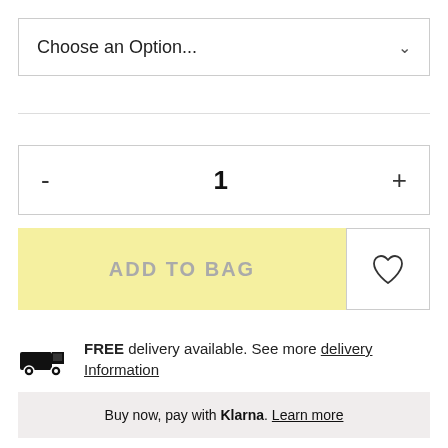Choose an Option...
- 1 +
ADD TO BAG
FREE delivery available. See more delivery Information
Buy now, pay with Klarna. Learn more